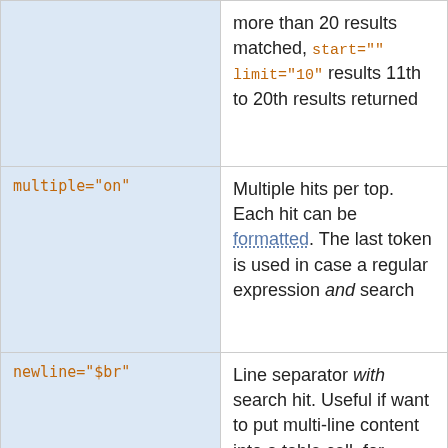| Parameter | Description |
| --- | --- |
| (continuation) | more than 20 results matched, start="" limit="10" results 11th to 20th results returned |
| multiple="on" | Multiple hits per top. Each hit can be formatted. The last token is used in case a regular expression and search |
| newline="$br" | Line separator with search hit. Useful if want to put multi-line content into a table cell, for example if the format="" parameter contains a $pattern that captures more |